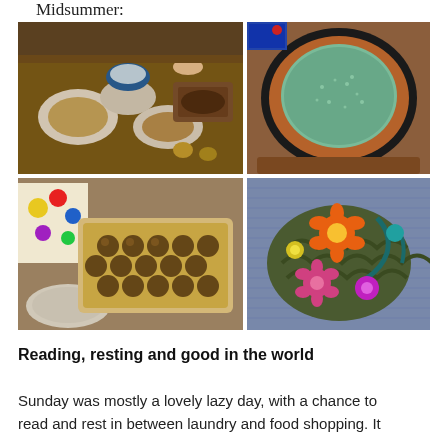Midsummer:
[Figure (photo): Four food and craft photos arranged in a 2x2 grid: top-left shows a festive table spread with multiple dishes and drinks; top-right shows a round bread or cake in a dark pan; bottom-left shows a baking dish of roasted mushrooms or snails with a floral napkin; bottom-right shows a colorful crocheted floral decoration on denim fabric.]
Reading, resting and good in the world
Sunday was mostly a lovely lazy day, with a chance to read and rest in between laundry and food shopping. It